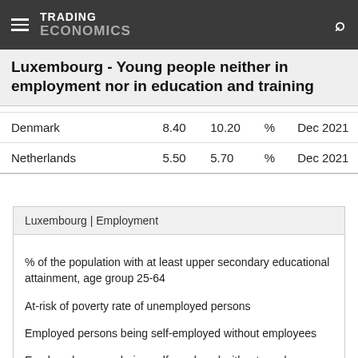TRADING ECONOMICS
Luxembourg - Young people neither in employment nor in education and training
| Country | Value | Previous | Unit | Date |
| --- | --- | --- | --- | --- |
| Denmark | 8.40 | 10.20 | % | Dec 2021 |
| Netherlands | 5.50 | 5.70 | % | Dec 2021 |
Luxembourg | Employment
% of the population with at least upper secondary educational attainment, age group 25-64
At-risk of poverty rate of unemployed persons
Employed persons being self-employed without employees
Employed persons being self-employed without employees: Females
Employed persons being self-employed without employees: Males
Employed women being in managerial positions: 15 years or over